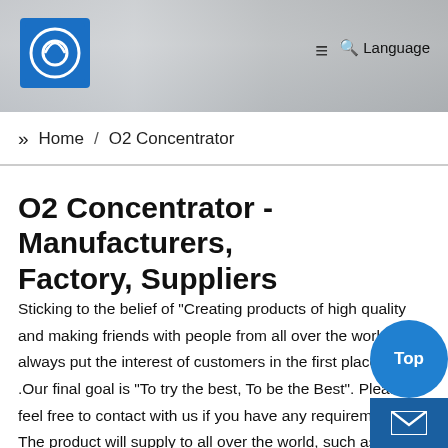[Figure (screenshot): Website header with company logo (blue square with circular icon), hamburger menu, search icon, and Language link on a gray building background]
» Home / O2 Concentrator
O2 Concentrator - Manufacturers, Factory, Suppliers
Sticking to the belief of "Creating products of high quality and making friends with people from all over the world", we always put the interest of customers in the first place for .Our final goal is "To try the best, To be the Best". Please feel free to contact with us if you have any requirements. The product will supply to all over the world, such as Europe, America, Australia, Iceland ,Ireland ,Being the top solutions of our factory, our solutions series